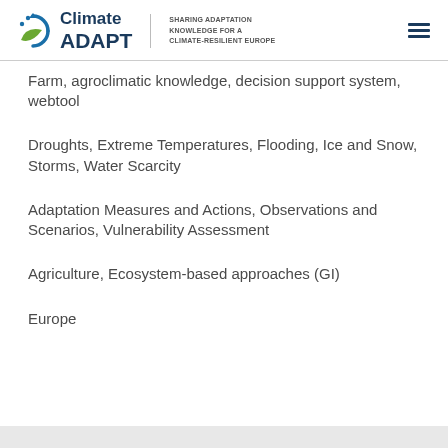Climate ADAPT — SHARING ADAPTATION KNOWLEDGE FOR A CLIMATE-RESILIENT EUROPE
Farm, agroclimatic knowledge, decision support system, webtool
Droughts, Extreme Temperatures, Flooding, Ice and Snow, Storms, Water Scarcity
Adaptation Measures and Actions, Observations and Scenarios, Vulnerability Assessment
Agriculture, Ecosystem-based approaches (GI)
Europe